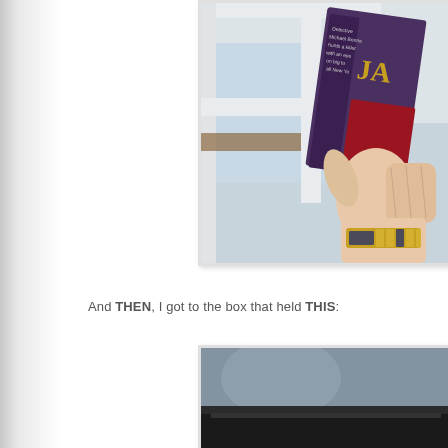[Figure (photo): A hand holding a book (appears to be a James Patterson novel) near a window, with wooden trim visible in the background. The book has a dark cover with gold lettering.]
And THEN, I got to the box that held THIS:
[Figure (photo): Bottom portion of a photo showing what appears to be a dark electronic device or book on a surface, partially cropped.]